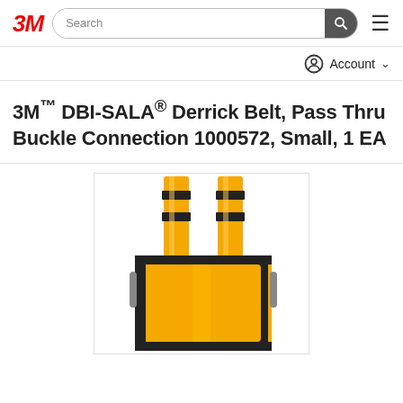3M [logo] | Search | Account
3M™ DBI-SALA® Derrick Belt, Pass Thru Buckle Connection 1000572, Small, 1 EA
[Figure (photo): Yellow DBI-SALA Derrick Belt with two yellow shoulder straps featuring black buckle hardware at top, and a yellow body harness panel with black trim at bottom, shown from rear view on white background.]